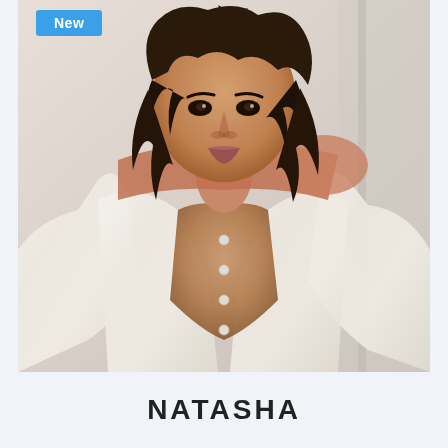[Figure (photo): Portrait photo of a woman with curly dark hair wearing an open white button-down shirt, showing bare shoulders, standing in a light interior setting. A blue 'New' badge is overlaid in the top-left corner of the photo.]
NATASHA